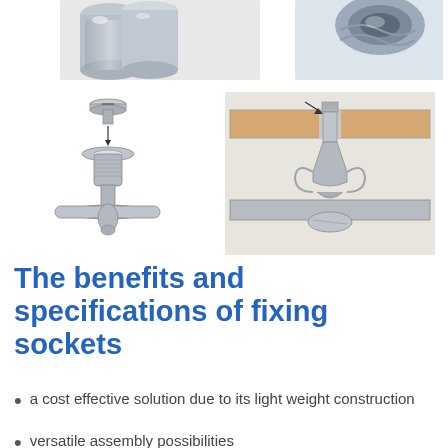[Figure (photo): Two close-up photos of metal fixing sockets/threaded sleeves at the top of the page]
[Figure (engineering-diagram): Exploded diagram of a fixing socket showing the screw and the flanged body with cross-bar base, with a downward arrow indicating assembly]
[Figure (engineering-diagram): Cross-section diagram showing a fixing socket inserted through a panel/surface with the anchor legs spread underneath, securing a horizontal member]
The benefits and specifications of fixing sockets
a cost effective solution due to its light weight construction
versatile assembly possibilities